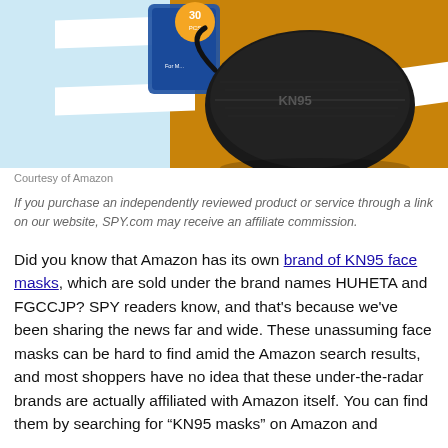[Figure (photo): Product photo of a black KN95 face mask on a colorful background with light blue and orange/amber sections, with white diagonal stripe elements. A package labeled '30 pieces' is also visible.]
Courtesy of Amazon
If you purchase an independently reviewed product or service through a link on our website, SPY.com may receive an affiliate commission.
Did you know that Amazon has its own brand of KN95 face masks, which are sold under the brand names HUHETA and FGCCJP? SPY readers know, and that's because we've been sharing the news far and wide. These unassuming face masks can be hard to find amid the Amazon search results, and most shoppers have no idea that these under-the-radar brands are actually affiliated with Amazon itself. You can find them by searching for “KN95 masks” on Amazon and